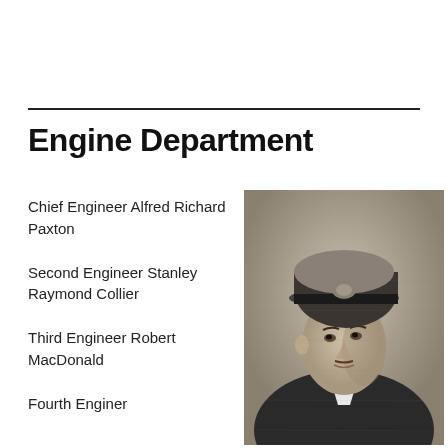Engine Department
Chief Engineer Alfred Richard Paxton
Second Engineer Stanley Raymond Collier
Third Engineer Robert MacDonald
Fourth Engineer…
[Figure (photo): Black and white portrait photograph of a man in a naval officer's uniform with a peaked cap, facing slightly to the right.]